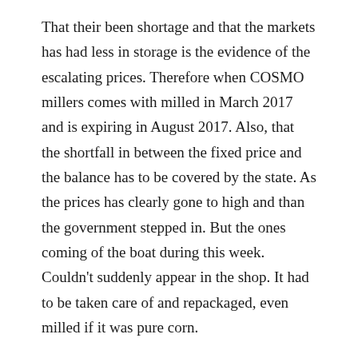That their been shortage and that the markets has had less in storage is the evidence of the escalating prices. Therefore when COSMO millers comes with milled in March 2017 and is expiring in August 2017. Also, that the shortfall in between the fixed price and the balance has to be covered by the state. As the prices has clearly gone to high and than the government stepped in. But the ones coming of the boat during this week. Couldn't suddenly appear in the shop. It had to be taken care of and repackaged, even milled if it was pure corn.
That the package of the milled maize flour now has the label of GoK, as the Jubilee fronting their good work. As they trying to look like they stopped a scandal and shortage. The Government clearly has either ordered the millers, agreed with the millers or tried to put a shortage to